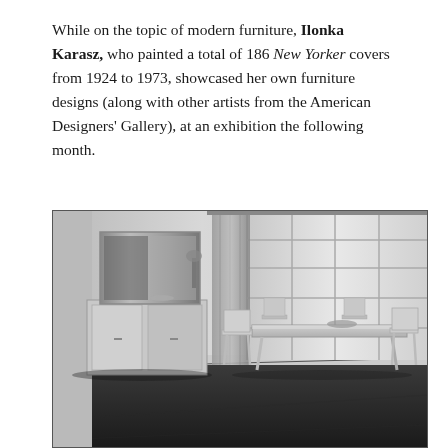While on the topic of modern furniture, Ilonka Karasz, who painted a total of 186 New Yorker covers from 1924 to 1973, showcased her own furniture designs (along with other artists from the American Designers' Gallery), at an exhibition the following month.
[Figure (photo): Black and white photograph of a modernist room interior showing a dining table with chairs, a sideboard with a mirror above it, and large grid-paned windows with sheer curtains in the background.]